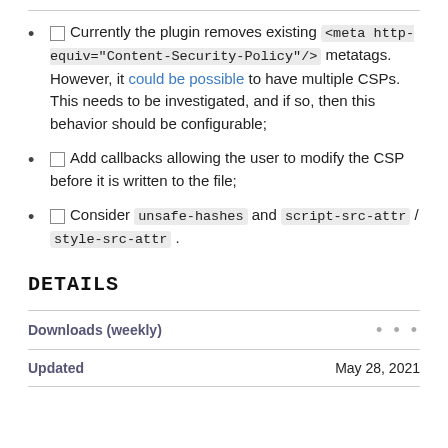Currently the plugin removes existing <meta http-equiv="Content-Security-Policy"/> metatags. However, it could be possible to have multiple CSPs. This needs to be investigated, and if so, then this behavior should be configurable;
Add callbacks allowing the user to modify the CSP before it is written to the file;
Consider unsafe-hashes and script-src-attr / style-src-attr .
DETAILS
Downloads (weekly)
Updated    May 28, 2021